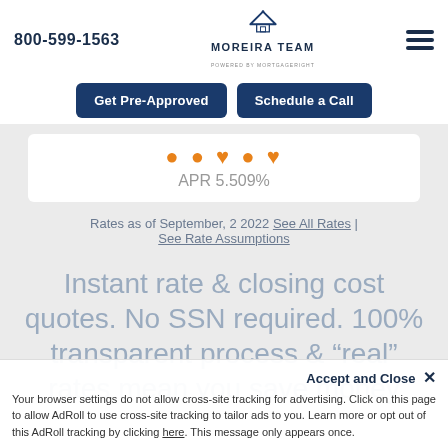800-599-1563
[Figure (logo): Moreira Team logo with house/mountain icon, text 'MOREIRA TEAM POWERED BY MORTGAGERIGHT']
Get Pre-Approved
Schedule a Call
APR 5.509%
Rates as of September, 2 2022 See All Rates | See Rate Assumptions
Instant rate & closing cost quotes. No SSN required. 100% transparent process & “real” rates mean you save money
Accept and Close × Your browser settings do not allow cross-site tracking for advertising. Click on this page to allow AdRoll to use cross-site tracking to tailor ads to you. Learn more or opt out of this AdRoll tracking by clicking here. This message only appears once.